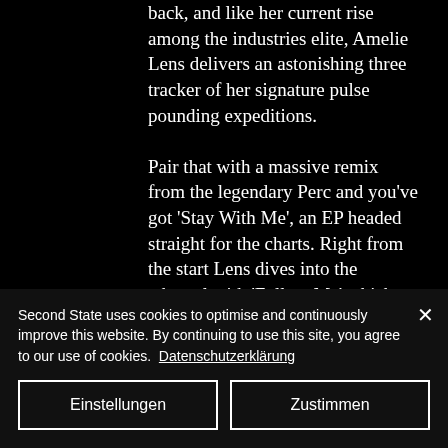back, and like her current rise among the industries elite, Amelie Lens delivers an astonishing three tracker of her signature pulse pounding expeditions. Pair that with a massive remix from the legendary Perc and you've got 'Stay With Me', an EP headed straight for the charts. Right from the start Lens dives into the ethereal with 'Follow Me' which could be her deepest cut to date. As atmospheric shimmers dance around endless
Second State uses cookies to optimise and continuously improve this website. By continuing to use this site, you agree to our use of cookies. Datenschutzerklärung
Einstellungen
Zustimmen